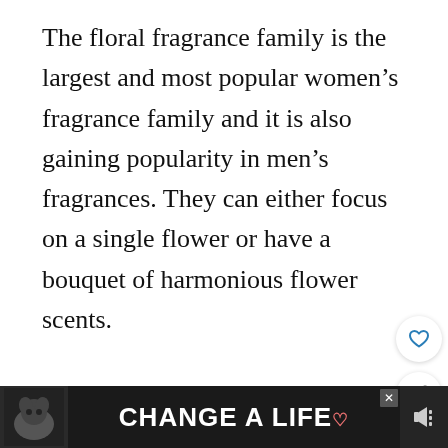The floral fragrance family is the largest and most popular women’s fragrance family and it is also gaining popularity in men’s fragrances. They can either focus on a single flower or have a bouquet of harmonious flower scents.

You will find that scents in this family range from very sweet and strong to light and sophisticated. The floral group is said to be more youthful and feminine. Examples include Chanel No. 22, Estee Lauder P...